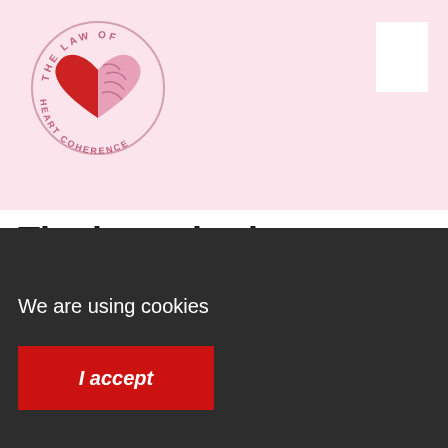[Figure (logo): The Law of Heart Coherence circular logo with red heart and brain illustration]
The heart-brain connection, that's how heart coherence works
Blog,  Heart
[Figure (illustration): Dark background with red heart and brain illustration]
We are using cookies
I accept